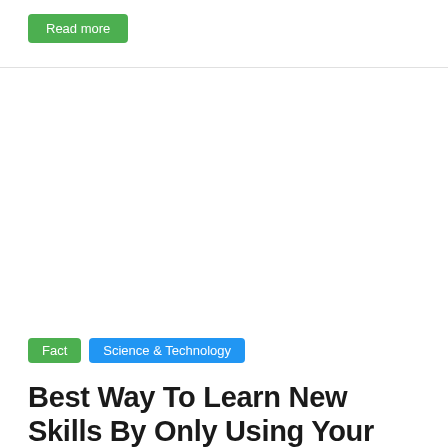Read more
[Figure (photo): Blank white image area placeholder for article thumbnail]
Fact  Science & Technology
Best Way To Learn New Skills By Only Using Your Smartphone
• 12/20/2019 • ...